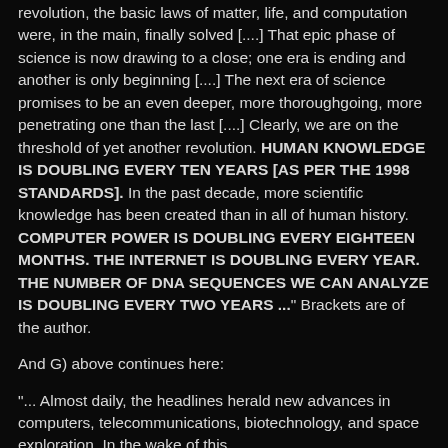revolution, the basic laws of matter, life, and computation were, in the main, finally solved [....] That epic phase of science is now drawing to a close; one era is ending and another is only beginning [....] The next era of science promises to be an even deeper, more thoroughgoing, more penetrating one than the last [....] Clearly, we are on the threshold of yet another revolution. HUMAN KNOWLEDGE IS DOUBLING EVERY TEN YEARS [AS PER THE 1998 STANDARDS]. In the past decade, more scientific knowledge has been created than in all of human history. COMPUTER POWER IS DOUBLING EVERY EIGHTEEN MONTHS. THE INTERNET IS DOUBLING EVERY YEAR. THE NUMBER OF DNA SEQUENCES WE CAN ANALYZE IS DOUBLING EVERY TWO YEARS ..." Brackets are of the author.
And G) above continues here:
“... Almost daily, the headlines herald new advances in computers, telecommunications, biotechnology, and space exploration. In the wake of this technological revolution, their insights are in